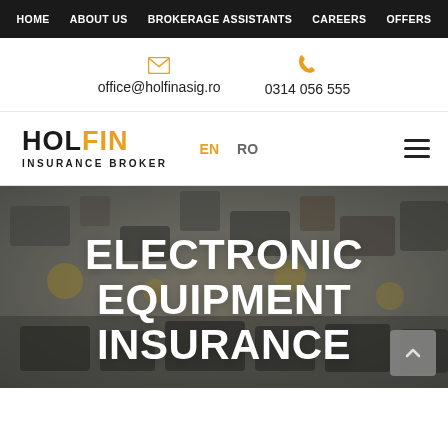HOME  ABOUT US  BROKERAGE ASSISTANTS  CAREERS  OFFERS
office@holfinasig.ro  0314 056 555
[Figure (logo): HOLFIN INSURANCE BROKER logo with HOL in black and FIN in orange/gold, with language links EN and RO, and a hamburger menu icon]
ELECTRONIC EQUIPMENT INSURANCE
[Figure (photo): Blurred background photo of electronic circuit board components, dark tones with some golden/yellow accents]